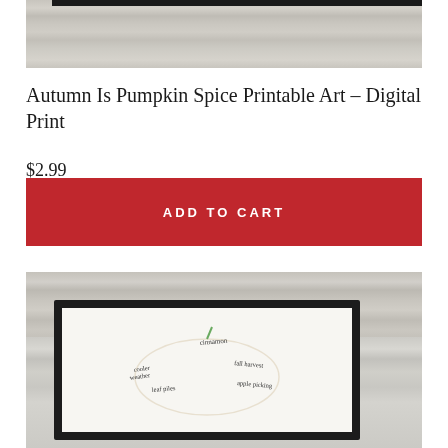[Figure (photo): Top portion of a wooden plank background with a black horizontal bar at top, light grey-white weathered wood texture]
Autumn Is Pumpkin Spice Printable Art – Digital Print
$2.99
ADD TO CART
[Figure (photo): Framed print of pumpkin spice art with handwritten text including 'cinnamon', 'cooler weather', 'leaf piles', 'fall harvest', 'apple picking', displayed in a black frame on a white weathered wood background]